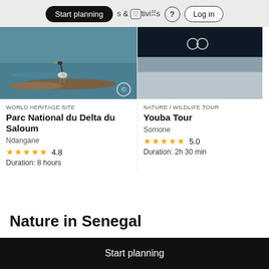Start planning | & Activities | ? | Log in
[Figure (photo): Photo of a heron bird on a log in water at Parc National du Delta du Saloum]
WORLD HERITAGE SITE
Parc National du Delta du Saloum
Ndangane
★★★★★ 4.8
Duration: 8 hours
[Figure (photo): Blurred dark wildlife photo for Youba Tour]
NATURE / WILDLIFE TOUR
Youba Tour
Somone
★★★★★ 5.0
Duration: 2h 30 min
Nature in Senegal
Start planning